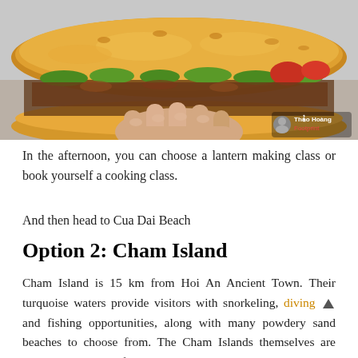[Figure (photo): A hand holding a Vietnamese bánh mì sandwich filled with meat, lettuce, tomato, and other toppings. A watermark reading 'Thảo Hoàng' with a logo is visible in the bottom right corner of the photo.]
In the afternoon, you can choose a lantern making class or book yourself a cooking class.
And then head to Cua Dai Beach
Option 2: Cham Island
Cham Island is 15 km from Hoi An Ancient Town. Their turquoise waters provide visitors with snorkeling, diving and fishing opportunities, along with many powdery sand beaches to choose from. The Cham Islands themselves are home to a number of small historical sights.